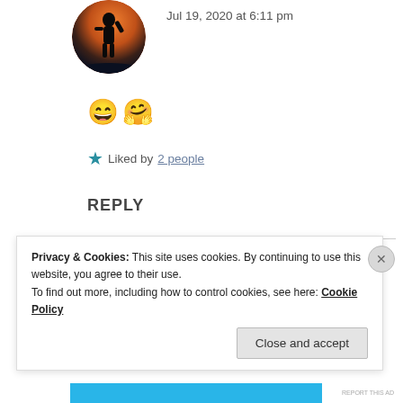[Figure (photo): Circular avatar photo showing a silhouette of a person against a sunset background with orange and dark blue tones]
Jul 19, 2020 at 6:11 pm
😄🤗
★ Liked by 2 people
REPLY
REPORT THIS AD
Privacy & Cookies: This site uses cookies. By continuing to use this website, you agree to their use.
To find out more, including how to control cookies, see here: Cookie Policy
Close and accept